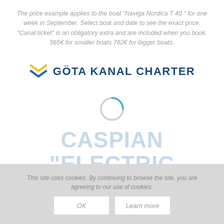The price example applies to the boat "Naviga Nordica T 40 " for one week in September. Select boat and date to see the exact price. "Canal ticket" is an obligatory extra and are included when you book. 565€ for smaller boats 762€ for bigger boats.
[Figure (logo): Göta Kanal Charter logo with double chevron icon in yellow/blue and bold blue text]
[Figure (other): Loading spinner circle (gray/blue arc)]
CASPIAN "ELECTRIC DRIVE" (NAVIGA
This site uses cookies. By continuing to browse the site, you are agreeing to our use of cookies.
OK   Learn more